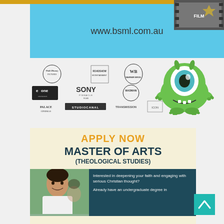[Figure (other): Yellow/gold strip at top of page]
[Figure (other): Blue box with website URL www.bsml.com.au]
www.bsml.com.au
[Figure (other): Film strip graphic top right corner]
[Figure (other): Film distributor logos grid: Walt Disney Pictures, Roadshow Entertainment, Warner Bros., eOne Entertainment, Sony / Pinnacle Films, Madman, Palace Cinemas, StudioCanal, Transmission, Icon]
[Figure (illustration): Mike Wazowski character from Monsters Inc. - green one-eyed monster standing upright]
[Figure (infographic): Advertisement for Master of Arts (Theological Studies). Says APPLY NOW in gold, MASTER OF ARTS in dark navy, (THEOLOGICAL STUDIES) below, with photo of young man and text about deepening faith.]
Interested in deepening your faith and engaging with serious Christian thought?
Already have an undergraduate degree in
[Figure (other): Teal scroll-to-top arrow button at bottom right]